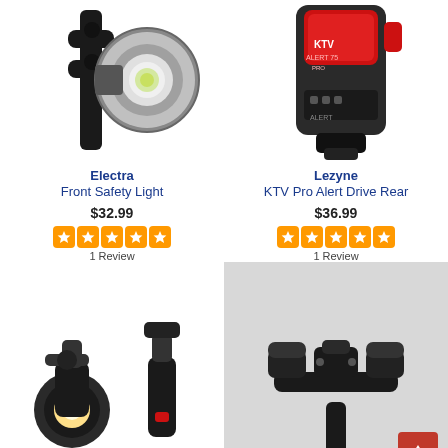[Figure (photo): Electra Front Safety Light bicycle light product photo - silver circular light with black strap mount]
Electra
Front Safety Light
$32.99
1 Review
[Figure (photo): Lezyne KTV Pro Alert Drive Rear bicycle light product photo - dark grey and red rear light]
Lezyne
KTV Pro Alert Drive Rear
$36.99
1 Review
[Figure (photo): Bottom left: bicycle light set product photo showing front and rear lights with mounts on white background]
[Figure (photo): Bottom right: bicycle light handlebar mount accessory on grey background with red scroll-to-top button overlay]